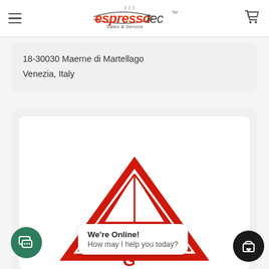[Figure (logo): Espressotec Sales & Service logo with hamburger menu and cart icon in header]
18-30030 Maerne di Martellago
Venezia, Italy
[Figure (photo): Product image showing a red triangular logo/emblem, partially visible, inside a white card]
We're Online!
How may I help you today?